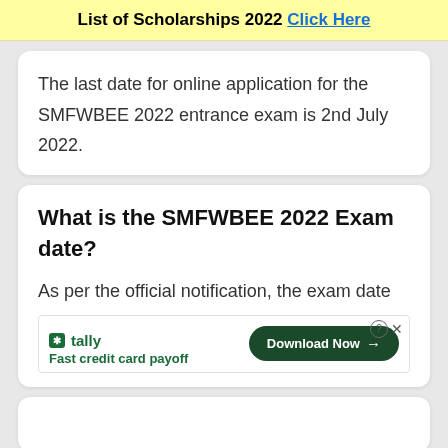List of Scholarships 2022 Click Here
The last date for online application for the SMFWBEE 2022 entrance exam is 2nd July 2022.
What is the SMFWBEE 2022 Exam date?
As per the official notification, the exam date
[Figure (screenshot): Tally advertisement banner with 'Fast credit card payoff' tagline and 'Download Now' button, with close (X) and info (?) icons.]